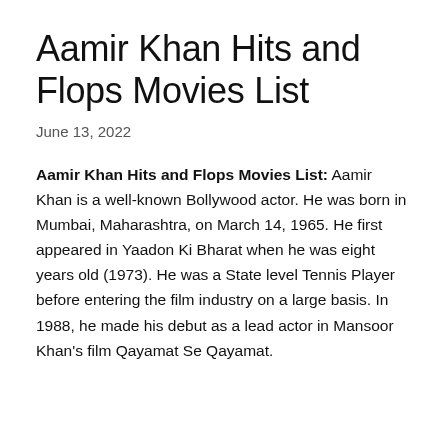Aamir Khan Hits and Flops Movies List
June 13, 2022
Aamir Khan Hits and Flops Movies List: Aamir Khan is a well-known Bollywood actor. He was born in Mumbai, Maharashtra, on March 14, 1965. He first appeared in Yaadon Ki Bharat when he was eight years old (1973). He was a State level Tennis Player before entering the film industry on a large basis. In 1988, he made his debut as a lead actor in Mansoor Khan's film Qayamat Se Qayamat.